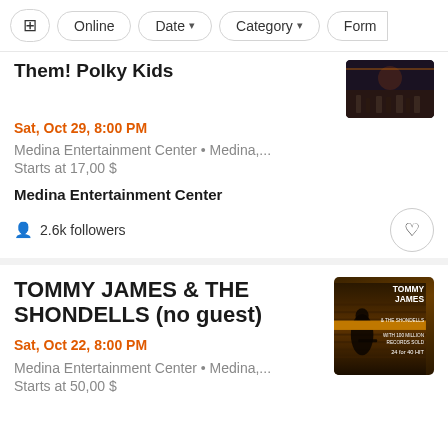Online | Date | Category | Form
Them! Polky Kids
Sat, Oct 29, 8:00 PM
Medina Entertainment Center • Medina,...
Starts at 17,00 $
Medina Entertainment Center
2.6k followers
TOMMY JAMES & THE SHONDELLS (no guest)
Sat, Oct 22, 8:00 PM
Medina Entertainment Center • Medina,...
Starts at 50,00 $